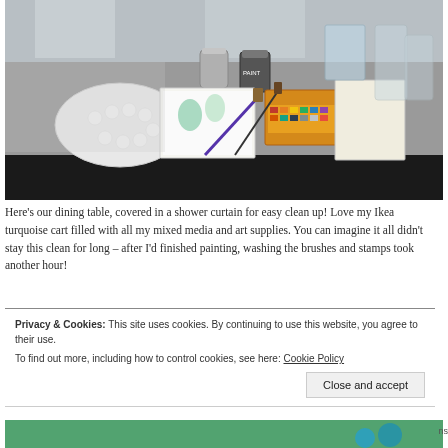[Figure (photo): A dining table covered with a silver/foil shower curtain, with art supplies on it: paint jars, brushes, a watercolor palette tray, a yellow watercolor set box, sketchbooks, and various containers.]
Here’s our dining table, covered in a shower curtain for easy clean up! Love my Ikea turquoise cart filled with all my mixed media and art supplies. You can imagine it all didn’t stay this clean for long – after I’d finished painting, washing the brushes and stamps took another hour!
Privacy & Cookies: This site uses cookies. By continuing to use this website, you agree to their use.
To find out more, including how to control cookies, see here: Cookie Policy
[Figure (photo): Partial view of a photo showing teal/turquoise colored items at the bottom edge of the page.]